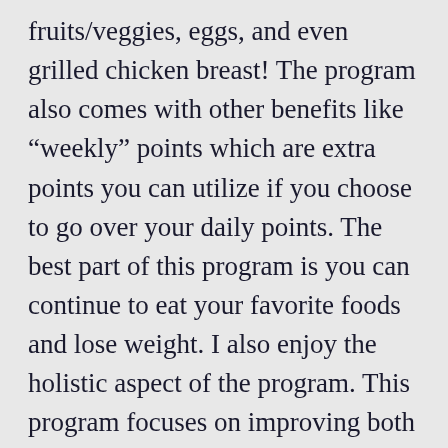fruits/veggies, eggs, and even grilled chicken breast! The program also comes with other benefits like “weekly” points which are extra points you can utilize if you choose to go over your daily points. The best part of this program is you can continue to eat your favorite foods and lose weight. I also enjoy the holistic aspect of the program. This program focuses on improving both your mental and physical well-being. Many WW members are active on social media {check out my Insta @linds_loses_with_ww} and we are all about encouraging one another to savor this journey and make positive changes on the inside &